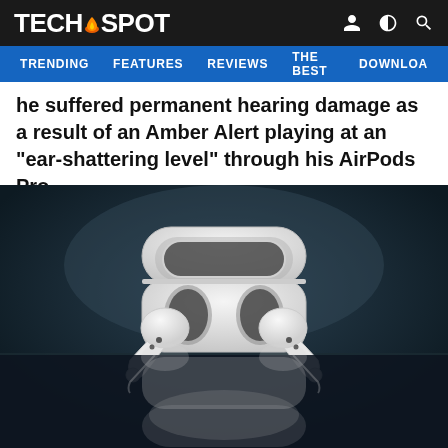TECHSPOT
TRENDING   FEATURES   REVIEWS   THE BEST   DOWNLOA
he suffered permanent hearing damage as a result of an Amber Alert playing at an "ear-shattering level" through his AirPods Pro.
[Figure (photo): White AirPods Pro with open charging case sitting on a reflective dark surface, showing the earbuds and their reflection below.]